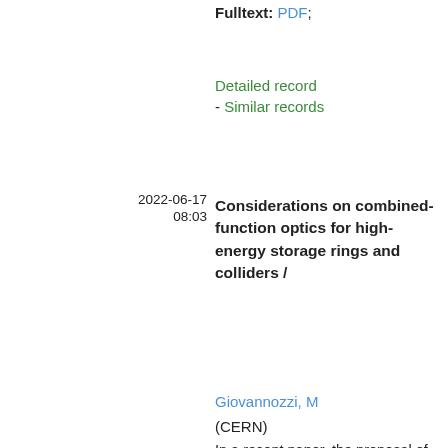Fulltext: PDF;
Detailed record
- Similar records
2022-06-17
08:03
Considerations on combined-function optics for high-energy storage rings and colliders /
Giovannozzi, M
(CERN)
In a recent paper, the proposal of using combined-function optics for the arcs of